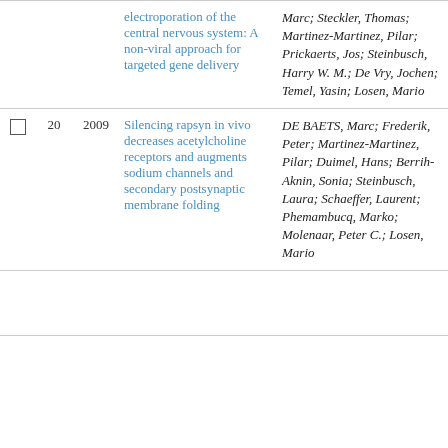|  | # | Year | Title | Authors |  |
| --- | --- | --- | --- | --- | --- |
|  |  |  | electroporation of the central nervous system: A non-viral approach for targeted gene delivery | Marc; Steckler, Thomas; Martinez-Martinez, Pilar; Prickaerts, Jos; Steinbusch, Harry W. M.; De Vry, Jochen; Temel, Yasin; Losen, Mario | Co |
| ☐ | 20 | 2009 | Silencing rapsyn in vivo decreases acetylcholine receptors and augments sodium channels and secondary postsynaptic membrane folding | DE BAETS, Marc; Frederik, Peter; Martinez-Martinez, Pilar; Duimel, Hans; Berrih-Aknin, Sonia; Steinbusch, Laura; Schaeffer, Laurent; Phemambucq, Marko; Molenaar, Peter C.; Losen, Mario | Jo Co |